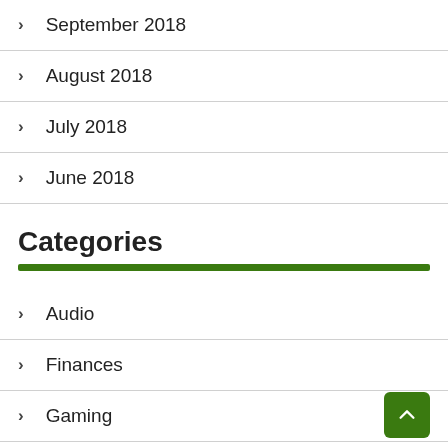September 2018
August 2018
July 2018
June 2018
Categories
Audio
Finances
Gaming
Home and Garden